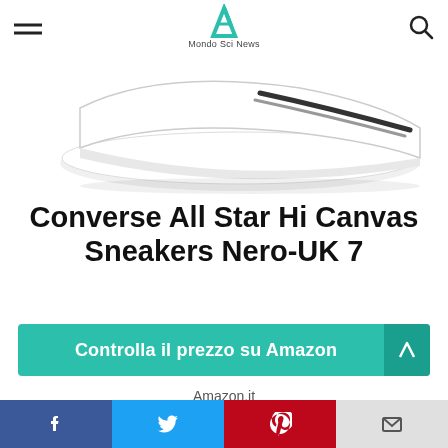Mondo Sci News
[Figure (photo): Cropped bottom view of a white Converse All Star sneaker showing the white sole and black stripe on white background]
Converse All Star Hi Canvas Sneakers Nero-UK 7
Controlla il prezzo su Amazon
Amazon.it
[Figure (infographic): Social media share bar with Facebook, Twitter, Pinterest, and email icons]